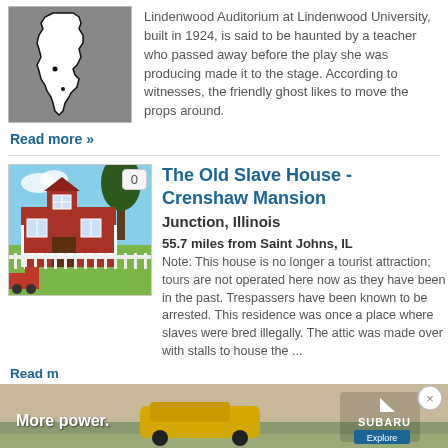[Figure (illustration): Illinois state map outline on gray background]
Lindenwood Auditorium at Lindenwood University, built in 1924, is said to be haunted by a teacher who passed away before the play she was producing made it to the stage. According to witnesses, the friendly ghost likes to move the props around.
Read more »
[Figure (photo): Photo of The Old Slave House - Crenshaw Mansion, a red two-story house with white fence and porch]
The Old Slave House - Crenshaw Mansion
Junction, Illinois
55.7 miles from Saint Johns, IL
Note: This house is no longer a tourist attraction; tours are not operated here now as they have been in the past. Trespassers have been known to be arrested. This residence was once a place where slaves were bred illegally. The attic was made over with stalls to house the ...
Read m
[Figure (other): Subaru advertisement banner showing car with 'More power.' text and Explore button]